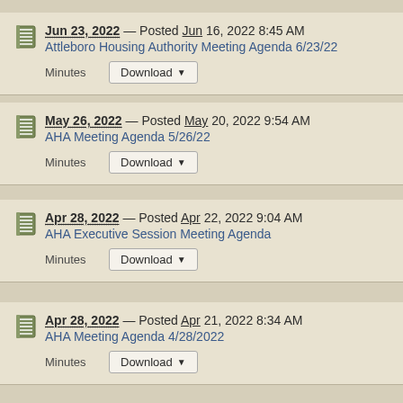Jun 23, 2022 — Posted Jun 16, 2022 8:45 AM
Attleboro Housing Authority Meeting Agenda 6/23/22
Minutes Download
May 26, 2022 — Posted May 20, 2022 9:54 AM
AHA Meeting Agenda 5/26/22
Minutes Download
Apr 28, 2022 — Posted Apr 22, 2022 9:04 AM
AHA Executive Session Meeting Agenda
Minutes Download
Apr 28, 2022 — Posted Apr 21, 2022 8:34 AM
AHA Meeting Agenda 4/28/2022
Minutes Download